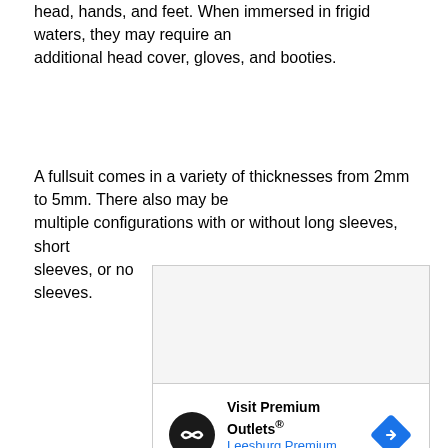head, hands, and feet. When immersed in frigid waters, they may require an additional head cover, gloves, and booties.
A fullsuit comes in a variety of thicknesses from 2mm to 5mm. There also may be multiple configurations with or without long sleeves, short sleeves, or no sleeves.
[Figure (other): Advertisement box split into two sections: top section is a blank gray/white rectangle, bottom section contains Visit Premium Outlets® logo with Leesburg Premium Outlets text and a blue navigation arrow diamond icon, plus small play and close icons at bottom.]